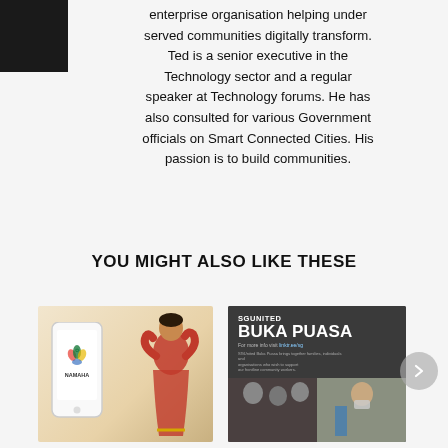enterprise organisation helping under served communities digitally transform. Ted is a senior executive in the Technology sector and a regular speaker at Technology forums. He has also consulted for various Government officials on Smart Connected Cities. His passion is to build communities.
YOU MIGHT ALSO LIKE THESE
[Figure (photo): Thumbnail image showing a smartphone with Namaha app logo on screen, alongside a woman in a red sari in a dancing or prayer pose, against a sandy/warm background.]
[Figure (photo): Thumbnail image showing an SGUnited Buka Puasa event promotional banner with collage of people, some wearing masks, at a community event.]